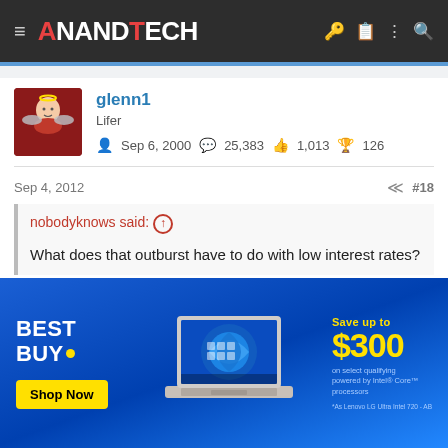AnandTech
glenn1
Lifer
Sep 6, 2000  25,383  1,013  126
Sep 4, 2012  #18
nobodyknows said: ↑
What does that outburst have to do with low interest rates?
[Figure (other): Best Buy advertisement banner showing a laptop with Windows 11, Save up to $300, Shop Now button]